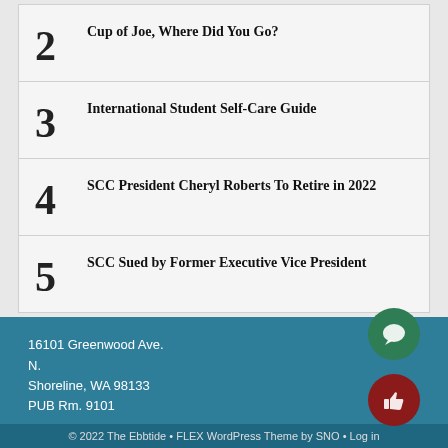2 Cup of Joe, Where Did You Go?
3 International Student Self-Care Guide
4 SCC President Cheryl Roberts To Retire in 2022
5 SCC Sued by Former Executive Vice President
16101 Greenwood Ave. N.
Shoreline, WA 98133
PUB Rm. 9101
© 2022 The Ebbtide • FLEX WordPress Theme by SNO • Log in